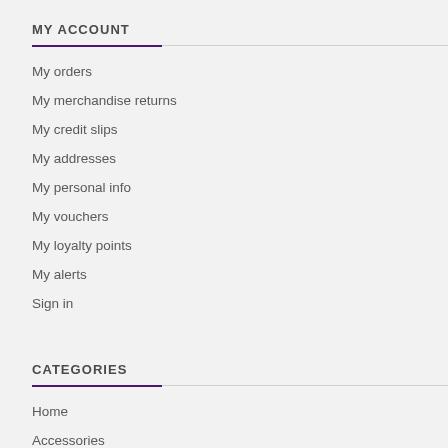MY ACCOUNT
My orders
My merchandise returns
My credit slips
My addresses
My personal info
My vouchers
My loyalty points
My alerts
Sign in
CATEGORIES
Home
Accessories
Hair